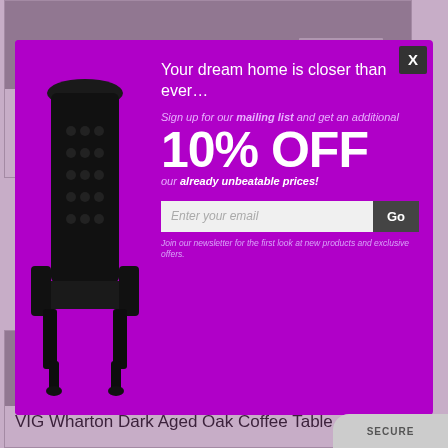VIG Aura Walnut Floating Coffee Table
$1,099.00
[Figure (photo): Black ornate tufted high-back throne chair on purple background, used in promotional popup]
Your dream home is closer than ever…
Sign up for our mailing list and get an additional
10% OFF
our already unbeatable prices!
Enter your email
Go
Join our newsletter for the first look at new products and exclusive offers.
VIG Wharton Dark Aged Oak Coffee Table